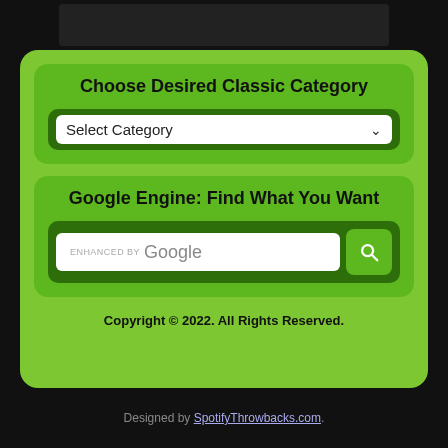Choose Desired Classic Category
Select Category
Google Engine: Find What You Want
ENHANCED BY Google
Copyright © 2022. All Rights Reserved.
Designed by SpotifyThrowbacks.com.